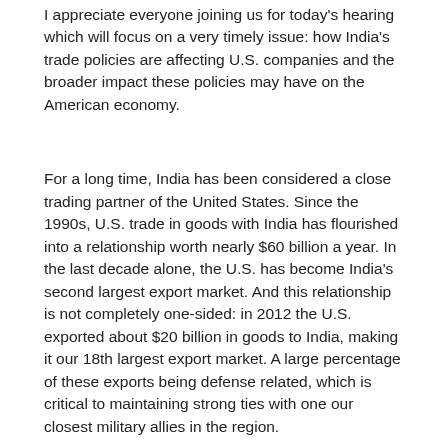I appreciate everyone joining us for today's hearing which will focus on a very timely issue: how India's trade policies are affecting U.S. companies and the broader impact these policies may have on the American economy.
For a long time, India has been considered a close trading partner of the United States. Since the 1990s, U.S. trade in goods with India has flourished into a relationship worth nearly $60 billion a year. In the last decade alone, the U.S. has become India's second largest export market. And this relationship is not completely one-sided: in 2012 the U.S. exported about $20 billion in goods to India, making it our 18th largest export market. A large percentage of these exports being defense related, which is critical to maintaining strong ties with one our closest military allies in the region.
Read more...
Opening Statement of Energy and Commerce Committee Chairman Fred Upton